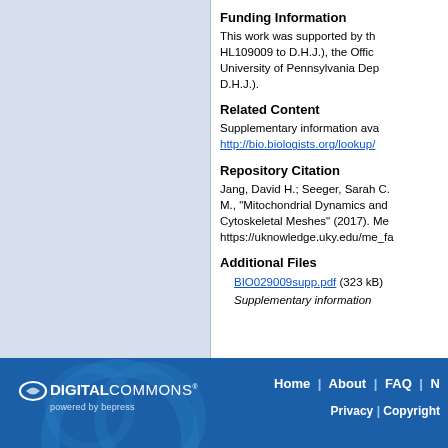[Figure (other): Light blue left panel background area (image/figure placeholder)]
Funding Information
This work was supported by the HL109009 to D.H.J.), the Office University of Pennsylvania Dep D.H.J.).
Related Content
Supplementary information ava http://bio.biologists.org/lookup/
Repository Citation
Jang, David H.; Seeger, Sarah C. M., "Mitochondrial Dynamics and Cytoskeletal Meshes" (2017). Me https://uknowledge.uky.edu/me_fa
Additional Files
BIO029009supp.pdf (323 kB)
Supplementary information
Home | About | FAQ | Privacy | Copyright — Digital Commons powered by bepress